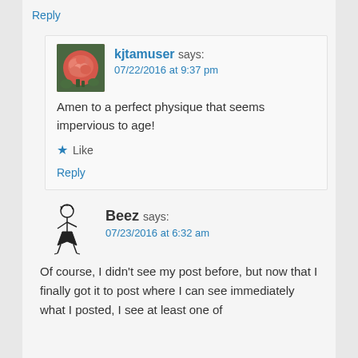Reply
[Figure (photo): Avatar image of a pink rose flower against green foliage background]
kjtamuser says:
07/22/2016 at 9:37 pm
Amen to a perfect physique that seems impervious to age!
★ Like
Reply
[Figure (illustration): Avatar illustration of a stick figure character wearing a dress, black and white line art]
Beez says:
07/23/2016 at 6:32 am
Of course, I didn't see my post before, but now that I finally got it to post where I can see immediately what I posted, I see at least one of